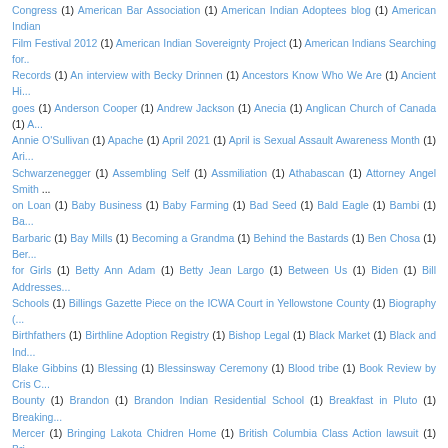Congress (1) American Bar Association (1) American Indian Adoptees blog (1) American Indian Film Festival 2012 (1) American Indian Sovereignty Project (1) American Indians Searching for... Records (1) An interview with Becky Drinnen (1) Ancestors Know Who We Are (1) Ancient Hi... goes (1) Anderson Cooper (1) Andrew Jackson (1) Anecia (1) Anglican Church of Canada (1) A... Annie O'Sullivan (1) Apache (1) April 2021 (1) April is Sexual Assault Awareness Month (1) Ari... Schwarzenegger (1) Assembling Self (1) Assmiliation (1) Athabascan (1) Attorney Angel Smith ... on Loan (1) Baby Business (1) Baby Farming (1) Bad Seed (1) Bald Eagle (1) Bambi (1) Ba... Barbaric (1) Bay Mills (1) Becoming a Grandma (1) Behind the Bastards (1) Ben Chosa (1) Ber... for Girls (1) Betty Ann Adam (1) Betty Jean Largo (1) Between Us (1) Biden (1) Bill Addresses... Schools (1) Billings Gazette Piece on the ICWA Court in Yellowstone County (1) Biography (... Birthfathers (1) Birthline Adoption Registry (1) Bishop Legal (1) Black Market (1) Black and Ind... Blake Gibbins (1) Blessing (1) Blessinsway Ceremony (1) Blood tribe (1) Book Review by Cris C... Bounty (1) Brandon (1) Brandon Indian Residential School (1) Breakfast in Pluto (1) Breaking... Mercer (1) Bringing Lakota Chidren Home (1) British Columbia Class Action lawsuit (1) Bri... Broken Spirits (1) Brooke Swaney (1) Brule Lakota (1) Bryan Newland (1) Buffalo Narrows (1)... Midnight Dream (1) Burying (1) CASA (1) CBS (1) CBS News (1) CHIFF (1) CRT (1) Calgary... You Hear Me Now? (1) Canada Reads (1) Canada settlement (1) Canadian History/Studies... Canadian Human Rights Tribunal (1) Canadian Museum of Human Rights (1) Cannons attackman... Capitol Coalition for Adoptee Rights (1) Carlisle Indian School Connections (1) Carter Meland (1... (1) Catharine Robertson (1) Catholic Infant Home (1) Cathy Heslin (1) Cecelia Reekie (1) Ceci... Challenge to ICWA (1) Champion for Native Children (1) Change.org petition (1) Chanie We... Chemawa Indian School (1) Cheyenne River Sioux (1) Chickasaw (1) Chief Adam Dick (1) Chi... the Dragonfly (1) Children's Village of foster homes (1) Chile (1) Chilocco Indian School (1) Chi... Chris (1) Chris Benjamin (1) Christi Heath (1) Christians (1) Christopher Largo (1) Circle of Cou... (1) Code of Indian Offenses (1) Coleen Rajotte (1) Coleen Rajotte: Accounting for the 60s Sco... Home to Self (1) Concho Indian Boarding School (1) Confederated Salish and Kootenai Tribes... the Mo... (1) Connections about External/Extern... (1) Congress Residential Sch...